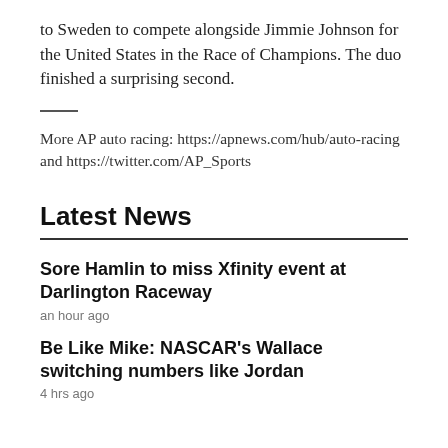to Sweden to compete alongside Jimmie Johnson for the United States in the Race of Champions. The duo finished a surprising second.
More AP auto racing: https://apnews.com/hub/auto-racing and https://twitter.com/AP_Sports
Latest News
Sore Hamlin to miss Xfinity event at Darlington Raceway
an hour ago
Be Like Mike: NASCAR's Wallace switching numbers like Jordan
4 hrs ago